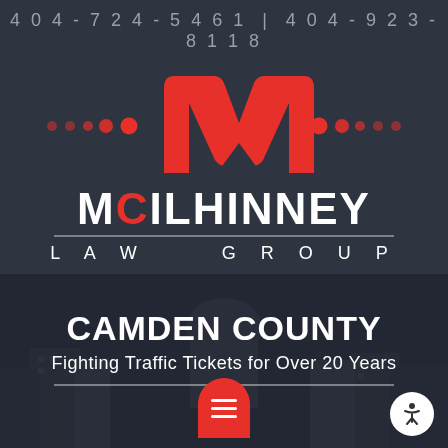404-724-5461 | 404-923-8118
[Figure (logo): McIlhinney Law Group logo with red M letter mark, decorative dots, firm name in white bold text with red C accent, and LAW GROUP text below divider line]
CAMDEN COUNTY
Fighting Traffic Tickets for Over 20 Years